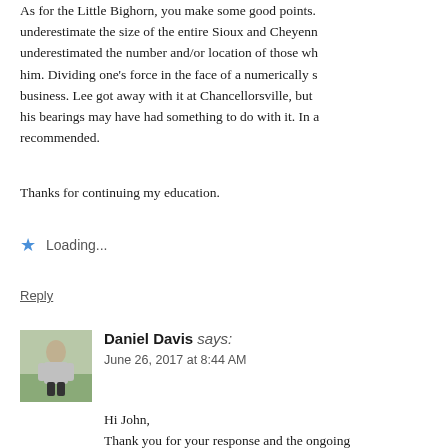As for the Little Bighorn, you make some good points. underestimate the size of the entire Sioux and Cheyenn underestimated the number and/or location of those wh him. Dividing one's force in the face of a numerically s business. Lee got away with it at Chancellorsville, but his bearings may have had something to do with it. In a recommended. Thanks for continuing my education.
Loading...
Reply
[Figure (photo): Avatar photo of Daniel Davis - a person standing outdoors in a field wearing a light gray sweatshirt]
Daniel Davis says: June 26, 2017 at 8:44 AM
Hi John, Thank you for your response and the ongoing for us but appears we will continue to agree to There is a lot to the Don Juan story that requir